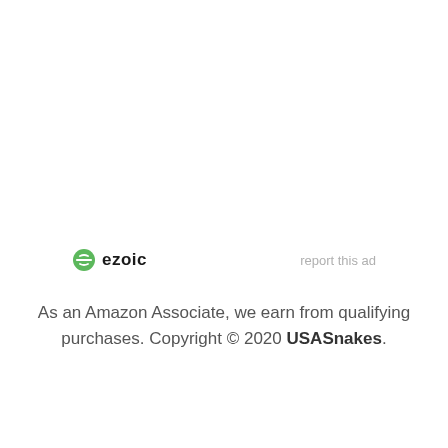[Figure (logo): Ezoic logo with green circle icon and bold 'ezoic' text, with 'report this ad' link on the right]
As an Amazon Associate, we earn from qualifying purchases. Copyright © 2020 USASnakes.